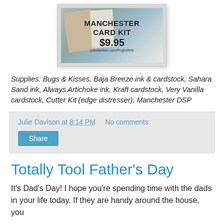[Figure (photo): MANchester Card Kit product image showing stacked cardstock papers in blue, tan, and white tones with text overlay: MANchester Card Kit $9.95 juliedavison.com/ProjectKits]
Supplies: Bugs & Kisses, Baja Breeze ink & cardstock, Sahara Sand ink, Always Artichoke ink, Kraft cardstock, Very Vanilla cardstock, Cutter Kit (edge distresser), Manchester DSP
Julie Davison at 8:14 PM   No comments:
Share
Totally Tool Father's Day
It's Dad's Day! I hope you're spending time with the dads in your life today. If they are handy around the house, you